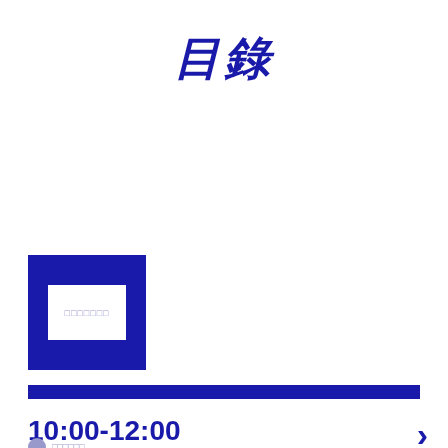目錄
[Figure (logo): Dark blue square border frame with white inner rectangle containing placeholder text]
[Figure (other): Solid dark blue horizontal divider bar]
10:00-12:00
›
□□□□□□